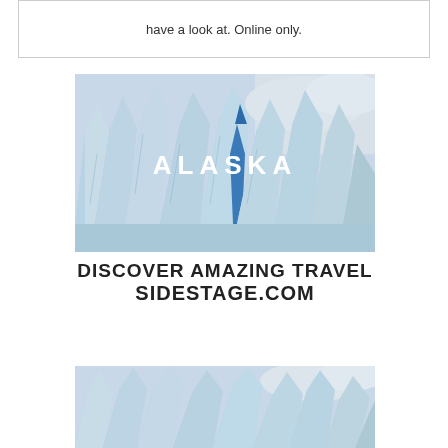have a look at. Online only.
[Figure (photo): Glacier ice formations with the word ALASKA overlaid in white text, part of a travel advertisement for sidestage.com]
DISCOVER AMAZING TRAVEL SIDESTAGE.COM
[Figure (photo): Bottom portion of glacier ice formations, same travel advertisement image cropped]